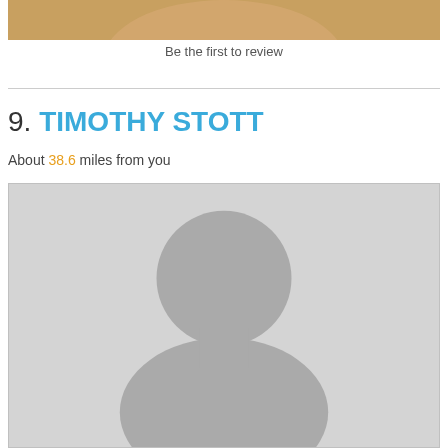[Figure (photo): Top portion of a photo showing a blonde person, partially cropped]
Be the first to review
9. TIMOTHY STOTT
About 38.6 miles from you
[Figure (photo): Default placeholder profile image showing a generic person silhouette (head and shoulders) on a light gray background]